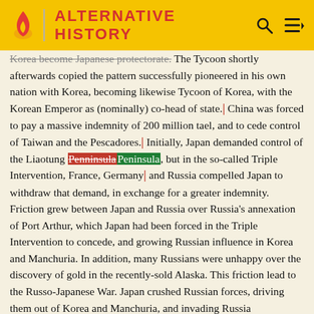ALTERNATIVE HISTORY
Korea become Japanese protectorate. The Tycoon shortly afterwards copied the pattern successfully pioneered in his own nation with Korea, becoming likewise Tycoon of Korea, with the Korean Emperor as (nominally) co-head of state. China was forced to pay a massive indemnity of 200 million tael, and to cede control of Taiwan and the Pescadores. Initially, Japan demanded control of the Liaotung Penninsula [strikethrough] Peninsula [inserted], but in the so-called Triple Intervention, France, Germany, and Russia compelled Japan to withdraw that demand, in exchange for a greater indemnity.
Friction grew between Japan and Russia over Russia's annexation of Port Arthur, which Japan had been forced in the Triple Intervention to concede, and growing Russian influence in Korea and Manchuria. In addition, many Russians were unhappy over the discovery of gold in the recently-sold Alaska. This friction lead to the Russo-Japanese War. Japan crushed Russian forces, driving them out of Korea and Manchuria, and invading Russia proper. Shock at these defeats led to the Russian...